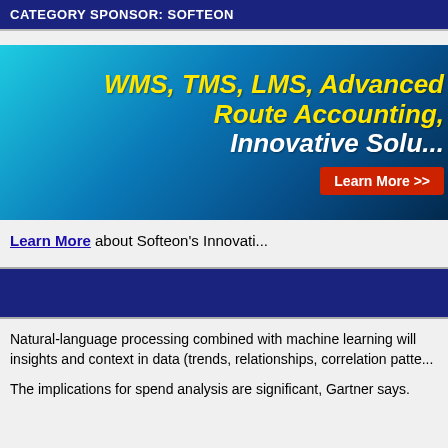CATEGORY SPONSOR: SOFTEON
[Figure (illustration): Softeon advertisement banner with gradient blue background showing text: WMS, TMS, LMS, Advanced Route Accounting, Innovative Solu... with a red Learn More >> button]
Learn More about Softeon's Innovati...
[Figure (other): Dark navy blue banner bar]
Natural-language processing combined with machine learning will insights and context in data (trends, relationships, correlation patte...
The implications for spend analysis are significant, Gartner says.